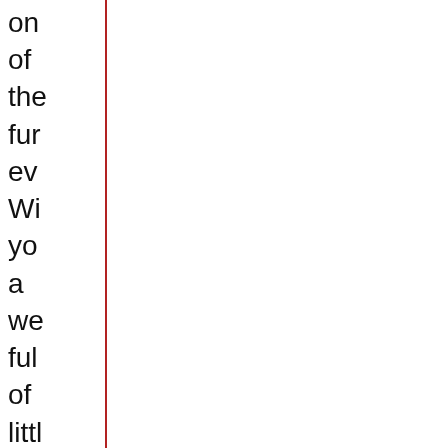on of the fur ev Wi yo a we ful of littl bla dre an big ad
Th